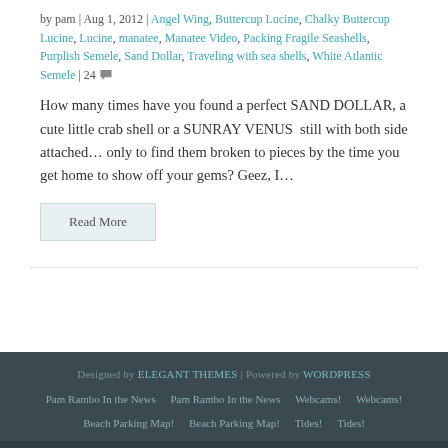by pam | Aug 1, 2012 | Angel Wing, Buttercup Lucine, Chalky Buttercup Lucine, Lucine, manatee, Manatee Video, Packing Fragile Seashells, Purplish Semele, Sand Dollar, Traveling with sea shells, White Atlantic Semele | 24 [comment]
How many times have you found a perfect SAND DOLLAR, a cute little crab shell or a SUNRAY VENUS still with both side attached... only to find them broken to pieces by the time you get home to show off your gems? Geez, I...
Read More
Designed by ELEGANT THEMES | Powered by WORDPRESS
Pam Rambo In the News | Pam Rambo In the News | Webcams! | Webcams!
Beach Parking Map! | Beach Parking Map! | Tides! | Tides!